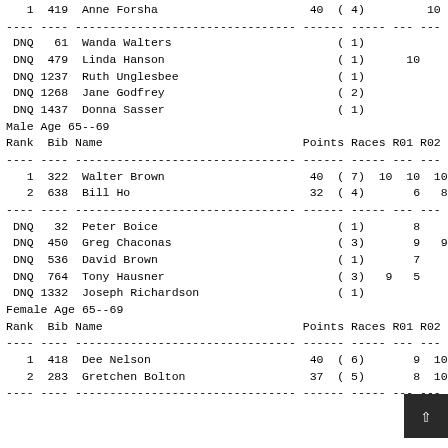1  419  Anne Forsha                      40  ( 4)         10  10
---- ---- -------------------------------- ------ ----- --- --- --- ---
DNQ   61  Wanda Walters                        ( 1)
DNQ  479  Linda Hanson                         ( 1)      10
DNQ 1237  Ruth Unglesbee                       ( 1)
DNQ 1268  Jane Godfrey                         ( 2)
DNQ 1437  Donna Sasser                         ( 1)
Male Age 65--69
| Rank | Bib | Name | Points | Races | R01 | R02 | R03 | R04 |
| --- | --- | --- | --- | --- | --- | --- | --- | --- |
| 1 | 322 | Walter Brown | 40 | ( 7) | 10 | 10 | 10 |  |
| 2 | 638 | Bill Ho | 32 | ( 4) |  | 6 | 8 |  |
---- ---- -------------------------------- ------ ----- --- --- --- ---
DNQ   32  Peter Boice                          ( 1)       8
DNQ  450  Greg Chaconas                        ( 3)       9   9  10
DNQ  536  David Brown                          ( 1)       7
DNQ  764  Tony Hausner                         ( 3)   9   5
DNQ 1332  Joseph Richardson                    ( 1)
Female Age 65--69
| Rank | Bib | Name | Points | Races | R01 | R02 | R03 | R04 |
| --- | --- | --- | --- | --- | --- | --- | --- | --- |
| 1 | 418 | Dee Nelson | 40 | ( 6) |  | 9 | 10 |  |
| 2 | 283 | Gretchen Bolton | 37 | ( 5) |  | 8 | 10 |  |
---- ---- -------------------------------- ------ ----- --- --- --- ---